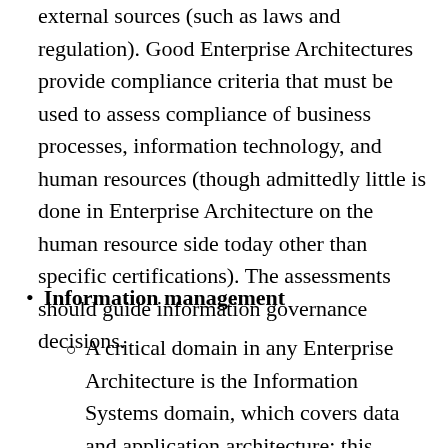external sources (such as laws and regulation). Good Enterprise Architectures provide compliance criteria that must be used to assess compliance of business processes, information technology, and human resources (though admittedly little is done in Enterprise Architecture on the human resource side today other than specific certifications). The assessments should guide information governance decisions.
Information management
A critical domain in any Enterprise Architecture is the Information Systems domain, which covers data and application architecture; this domain is here to guide